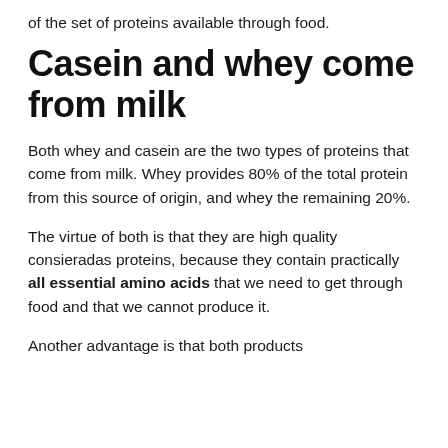of the set of proteins available through food.
Casein and whey come from milk
Both whey and casein are the two types of proteins that come from milk. Whey provides 80% of the total protein from this source of origin, and whey the remaining 20%.
The virtue of both is that they are high quality consieradas proteins, because they contain practically all essential amino acids that we need to get through food and that we cannot produce it.
Another advantage is that both products